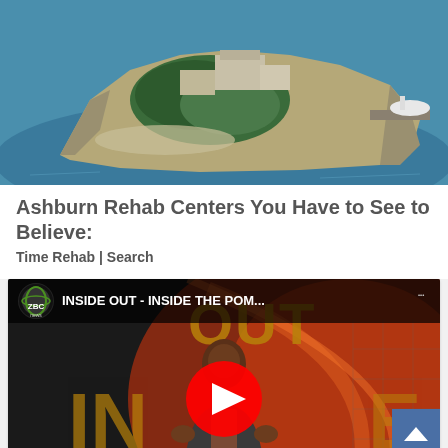[Figure (photo): Aerial photograph of Alcatraz Island surrounded by blue water, showing buildings, trees, and a dock with boats]
Ashburn Rehab Centers You Have to See to Believe:
Time Rehab | Search
[Figure (screenshot): YouTube video thumbnail showing ZBC News video titled 'INSIDE OUT - INSIDE THE POM...' with a man gesturing on a red/orange broadcast set, with YouTube play button overlay and video controls showing 00:00 / 57:24]